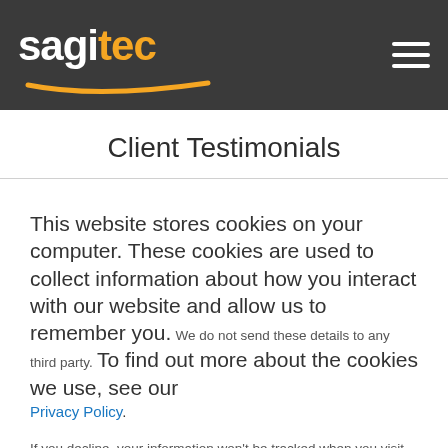sagitec
Client Testimonials
This website stores cookies on your computer. These cookies are used to collect information about how you interact with our website and allow us to remember you. We do not send these details to any third party. To find out more about the cookies we use, see our Privacy Policy.
If you decline, your information won't be tracked when you visit this website. A single cookie will be used in your browser to remember your preference not to be tracked.